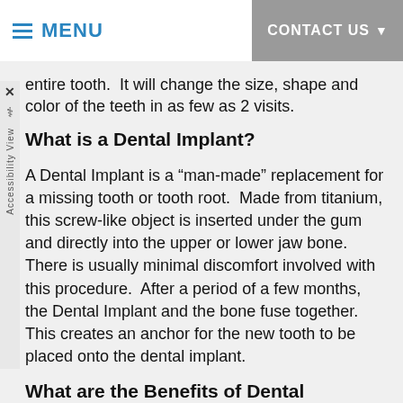MENU | CONTACT US
entire tooth.  It will change the size, shape and color of the teeth in as few as 2 visits.
What is a Dental Implant?
A Dental Implant is a “man-made” replacement for a missing tooth or tooth root.  Made from titanium, this screw-like object is inserted under the gum and directly into the upper or lower jaw bone.  There is usually minimal discomfort involved with this procedure.  After a period of a few months, the Dental Implant and the bone fuse together.  This creates an anchor for the new tooth to be placed onto the dental implant.
What are the Benefits of Dental Implants?